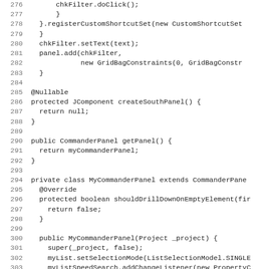[Figure (screenshot): Code listing showing Java source code, lines 276-307, with line numbers on the left and code on the right in monospace font. The code includes methods chkFilter setup, createSouthPanel, getPanel, and beginning of MyCommanderPanel inner class.]